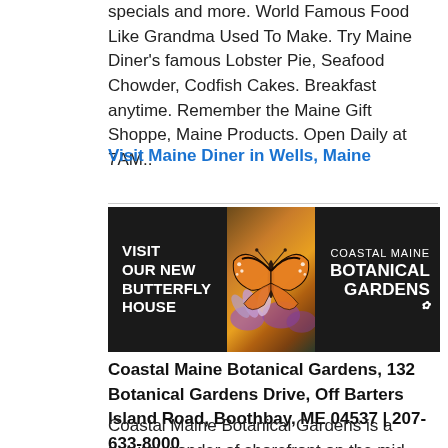specials and more. World Famous Food Like Grandma Used To Make. Try Maine Diner's famous Lobster Pie, Seafood Chowder, Codfish Cakes. Breakfast anytime. Remember the Maine Gift Shoppe, Maine Products. Open Daily at 7AM..
Visit Maine Diner in Wells, Maine
[Figure (photo): Advertisement banner for Coastal Maine Botanical Gardens featuring a monarch butterfly on a flower with text 'VISIT OUR NEW BUTTERFLY HOUSE' on the left and 'COASTAL MAINE BOTANICAL GARDENS' logo on the right, dark background.]
Coastal Maine Botanical Gardens, 132 Botanical Gardens Drive, Off Barters Island Road, Boothbay, ME 04537 | 207-633-8000
Coastal Maine Botanical Gardens is a natural wonder of shorefront on the mid-coast Maine. Stroll 270 acres through spectacular ornamental gardens and miles of waterfront and woodland trails. Beautiful foliage, plantings, picnic areas, tours and...